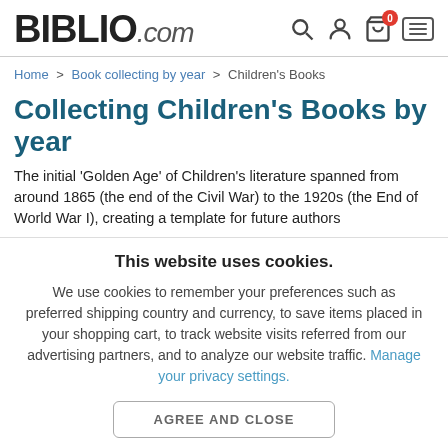BIBLIO.com
Home > Book collecting by year > Children's Books
Collecting Children's Books by year
The initial 'Golden Age' of Children's literature spanned from around 1865 (the end of the Civil War) to the 1920s (the End of World War I), creating a template for future authors
This website uses cookies.
We use cookies to remember your preferences such as preferred shipping country and currency, to save items placed in your shopping cart, to track website visits referred from our advertising partners, and to analyze our website traffic. Manage your privacy settings.
AGREE AND CLOSE